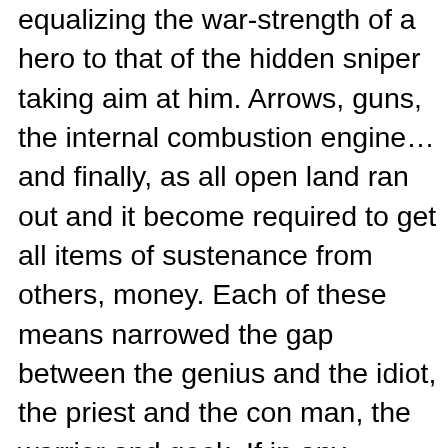equalizing the war-strength of a hero to that of the hidden sniper taking aim at him. Arrows, guns, the internal combustion engine… and finally, as all open land ran out and it become required to get all items of sustenance from others, money. Each of these means narrowed the gap between the genius and the idiot, the priest and the con man, the warrior and geek. If in any society there are a fortunate few of high ability, and a large mass of those with lesser ability, this technological progress amounts to a rebellion of the many against the few.